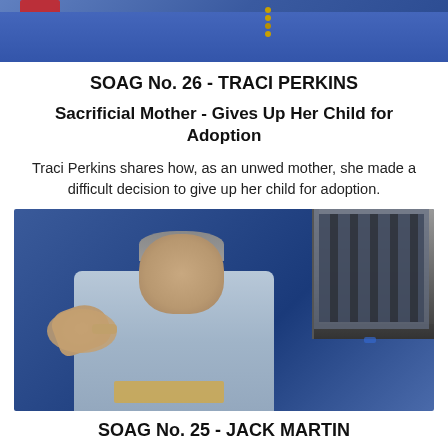[Figure (photo): Partial photo of Traci Perkins at top, showing blue outfit and red accent, cropped]
SOAG No. 26 - TRACI PERKINS
Sacrificial Mother - Gives Up Her Child for Adoption
Traci Perkins shares how, as an unwed mother, she made a difficult decision to give up her child for adoption.
[Figure (photo): Photo of older man in light blue shirt sitting and pointing, with screen visible in background]
SOAG No. 25 - JACK MARTIN